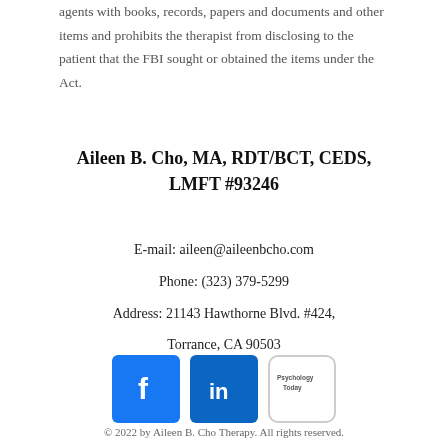agents with books, records, papers and documents and other items and prohibits the therapist from disclosing to the patient that the FBI sought or obtained the items under the Act.
Aileen B. Cho, MA, RDT/BCT, CEDS, LMFT #93246
E-mail: aileen@aileenbcho.com
Phone: (323) 379-5299
Address: 21143 Hawthorne Blvd. #424, Torrance, CA 90503
[Figure (logo): Facebook logo icon (blue square with white f)]
[Figure (logo): LinkedIn logo icon (blue square with white in)]
[Figure (logo): Psychology Today logo (white rounded square with small text)]
© 2022 by Aileen B. Cho Therapy. All rights reserved.